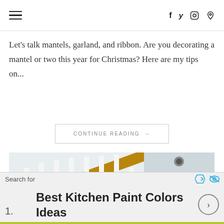≡  f  twitter  instagram  pinterest
Let's talk mantels, garland, and ribbon. Are you decorating a mantel or two this year for Christmas? Here are my tips on...
CONTINUE READING →
[Figure (photo): A Christmas-decorated staircase with red poinsettias, white pom-poms, holly, and ornaments on garland draped over white banisters, with a wreath visible on the right.]
Search for
1.  Best Kitchen Paint Colors Ideas